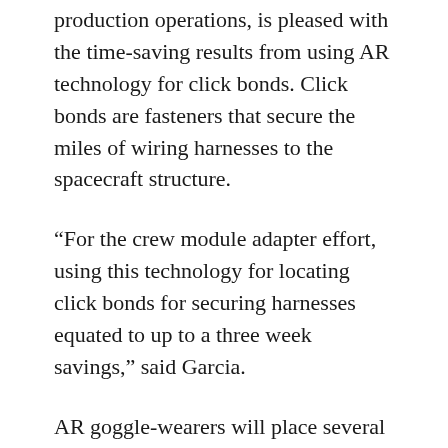production operations, is pleased with the time-saving results from using AR technology for click bonds. Click bonds are fasteners that secure the miles of wiring harnesses to the spacecraft structure.
“For the crew module adapter effort, using this technology for locating click bonds for securing harnesses equated to up to a three week savings,” said Garcia.
AR goggle-wearers will place several critical spaceflight components on the Orion hardware, including the crew module and heat shield for Artemis II. They also will use augmented reality work instructions to